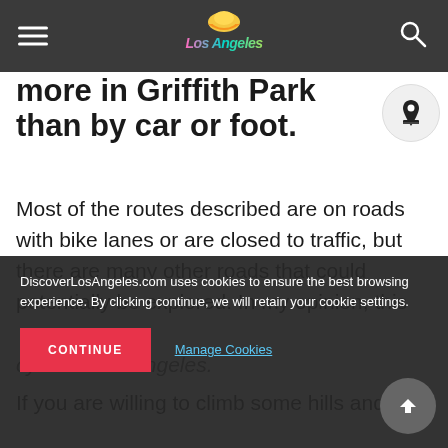Los Angeles (header bar with logo, hamburger menu, and search icon)
more in Griffith Park than by car or foot.
Most of the routes described are on roads with bike lanes or are closed to traffic, but there are many other roads that could potentially be explored. In my opinion, this
cycle in Los Angeles.
If you are willing to climb some hills and
DiscoverLosAngeles.com uses cookies to ensure the best browsing experience. By clicking continue, we will retain your cookie settings.
CONTINUE
Manage Cookies